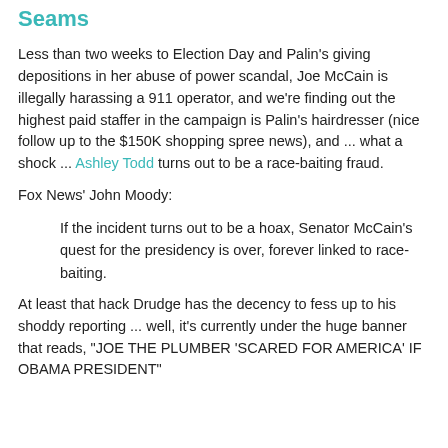Seams
Less than two weeks to Election Day and Palin's giving depositions in her abuse of power scandal, Joe McCain is illegally harassing a 911 operator, and we're finding out the highest paid staffer in the campaign is Palin's hairdresser (nice follow up to the $150K shopping spree news), and ... what a shock ... Ashley Todd turns out to be a race-baiting fraud.
Fox News' John Moody:
If the incident turns out to be a hoax, Senator McCain's quest for the presidency is over, forever linked to race-baiting.
At least that hack Drudge has the decency to fess up to his shoddy reporting ... well, it's currently under the huge banner that reads, "JOE THE PLUMBER 'SCARED FOR AMERICA' IF OBAMA PRESIDENT"